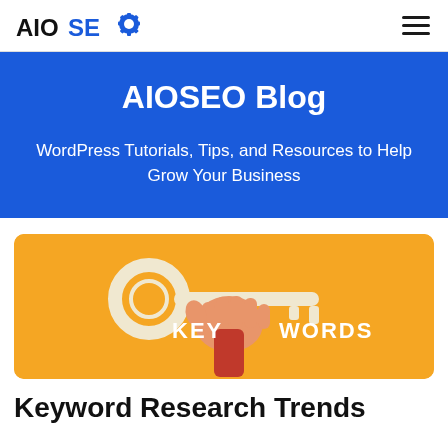AIOSEO (logo) [hamburger menu]
AIOSEO Blog
WordPress Tutorials, Tips, and Resources to Help Grow Your Business
[Figure (illustration): Orange card with a hand holding a key with the text KEY WORDS written on it]
Keyword Research Trends